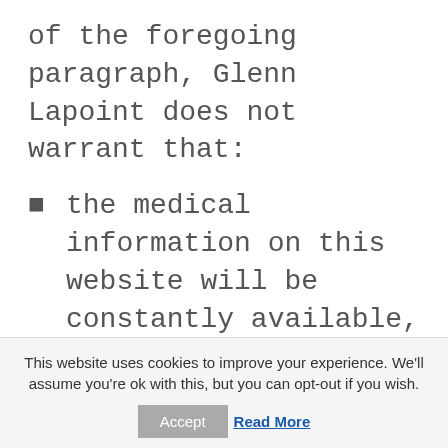of the foregoing paragraph, Glenn Lapoint does not warrant that:
the medical information on this website will be constantly available, or available at all; or
the medical information on this website is complete, true, accurate, up-to-date, or non-
This website uses cookies to improve your experience. We'll assume you're ok with this, but you can opt-out if you wish.
Accept   Read More